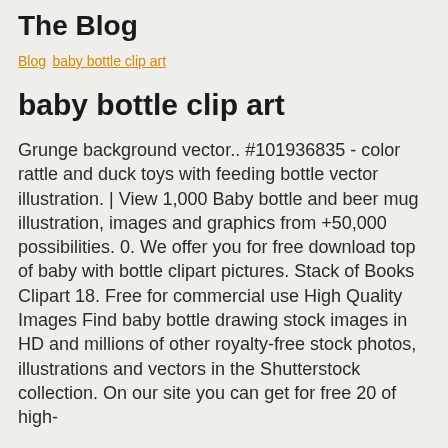The Blog
Blog baby bottle clip art
baby bottle clip art
Grunge background vector.. #101936835 - color rattle and duck toys with feeding bottle vector illustration. | View 1,000 Baby bottle and beer mug illustration, images and graphics from +50,000 possibilities. 0. We offer you for free download top of baby with bottle clipart pictures. Stack of Books Clipart 18. Free for commercial use High Quality Images Find baby bottle drawing stock images in HD and millions of other royalty-free stock photos, illustrations and vectors in the Shutterstock collection. On our site you can get for free 20 of high-quality images. +50 Top of baby from: